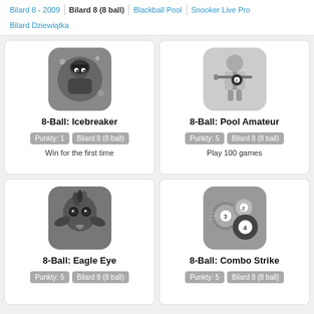Bilard 8 - 2009 | Bilard 8 (8 ball) | Blackball Pool | Snooker Live Pro | Bilard Dziewiątka
8-Ball: Icebreaker
Punkty: 1  Bilard 8 (8 ball)
Win for the first time
8-Ball: Pool Amateur
Punkty: 5  Bilard 8 (8 ball)
Play 100 games
8-Ball: Eagle Eye
Punkty: 5  Bilard 8 (8 ball)
8-Ball: Combo Strike
Punkty: 5  Bilard 8 (8 ball)